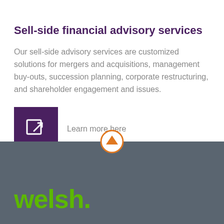Sell-side financial advisory services
Our sell-side advisory services are customized solutions for mergers and acquisitions, management buy-outs, succession planning, corporate restructuring, and shareholder engagement and issues.
[Figure (illustration): Purple square button with external link arrow icon, followed by text 'Learn more here']
[Figure (illustration): Orange circle with upward arrow icon, positioned at the boundary between white and dark gray footer sections]
[Figure (logo): Welsh company logo in bright green bold text on dark gray background, reading 'welsh.']